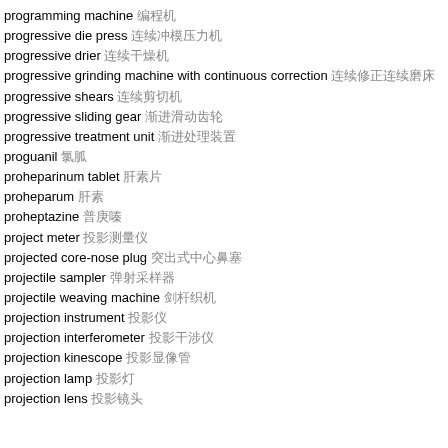programming machine 编程机
progressive die press 连续冲模压力机
progressive drier 连续干燥机
progressive grinding machine with continuous correction 连续修正连续磨床
progressive shears 连续剪切机
progressive sliding gear 渐进滑动齿轮
progressive treatment unit 渐进处理装置
proguanil 氯胍
proheparinum tablet 肝素片
proheparum 肝素
proheptazine 普庚嗪
project meter 投影测量仪
projected core-nose plug 突出式中心鼻塞
projectile sampler 弹射采样器
projectile weaving machine 剑杆织机
projection instrument 投影仪
projection interferometer 投影干涉仪
projection kinescope 投影显像管
projection lamp 投影灯
projection lens 投影镜头